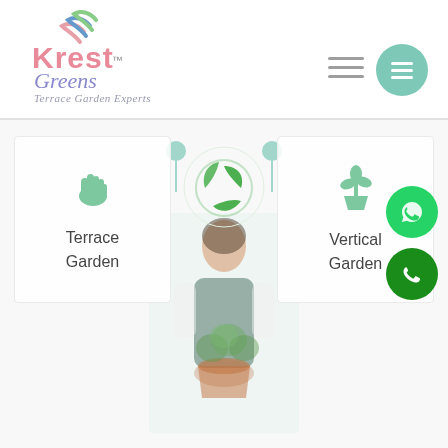[Figure (logo): Krest Greens logo with decorative leaf/wave icon above text 'Krest Greens - Terrace Garden Experts']
[Figure (illustration): Hamburger menu icon (three horizontal lines) and a teal circular menu button with three white lines]
[Figure (illustration): Main content area with two service cards: 'Terrace Garden' on the left with a gardening glove icon and lollipop pin, 'Vertical Garden' on the right with a potted plant icon and lollipop pin, a circular green leaf logo in the center, and a woman holding a plant pot in the foreground. WhatsApp and phone call floating action buttons on the right.]
Terrace Garden
Vertical Garden